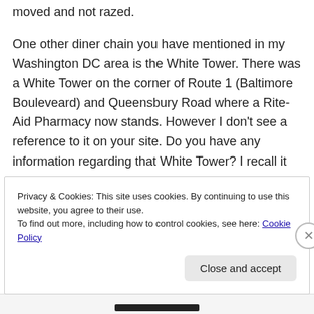moved and not razed.
One other diner chain you have mentioned in my Washington DC area is the White Tower. There was a White Tower on the corner of Route 1 (Baltimore Bouleveard) and Queensbury Road where a Rite-Aid Pharmacy now stands. However I don’t see a reference to it on your site. Do you have any information regarding that White Tower? I recall it well and wish I had a photo to send you.
Privacy & Cookies: This site uses cookies. By continuing to use this website, you agree to their use.
To find out more, including how to control cookies, see here: Cookie Policy
Close and accept